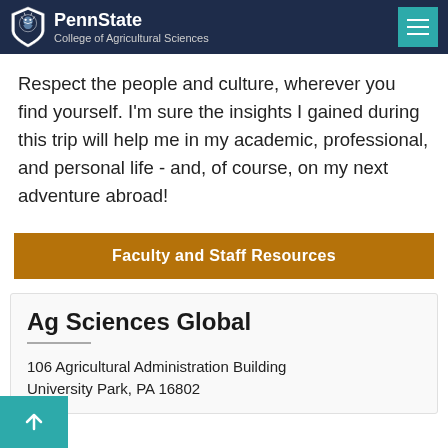PennState College of Agricultural Sciences
Respect the people and culture, wherever you find yourself. I'm sure the insights I gained during this trip will help me in my academic, professional, and personal life - and, of course, on my next adventure abroad!
Faculty and Staff Resources
Ag Sciences Global
106 Agricultural Administration Building University Park, PA 16802